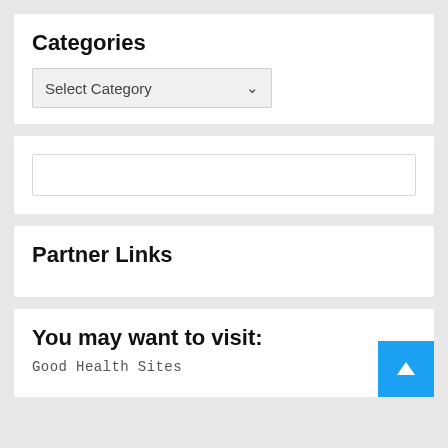Categories
[Figure (screenshot): Dropdown widget showing 'Select Category' with a chevron arrow]
[Figure (screenshot): Empty search input text box widget]
Partner Links
You may want to visit:
Good Health Sites